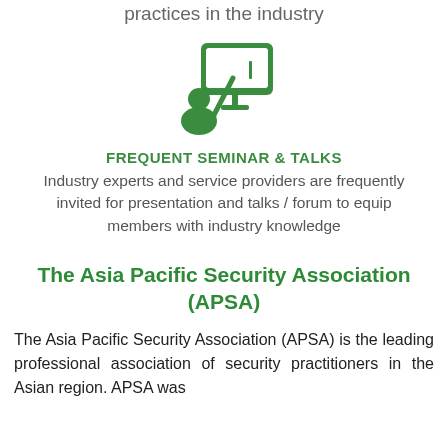practices in the industry
[Figure (illustration): Green icon of a person presenting at a screen/monitor with a pointer, representing seminar and talks]
FREQUENT SEMINAR & TALKS
Industry experts and service providers are frequently invited for presentation and talks / forum to equip members with industry knowledge
The Asia Pacific Security Association (APSA)
The Asia Pacific Security Association (APSA) is the leading professional association of security practitioners in the Asian region. APSA was